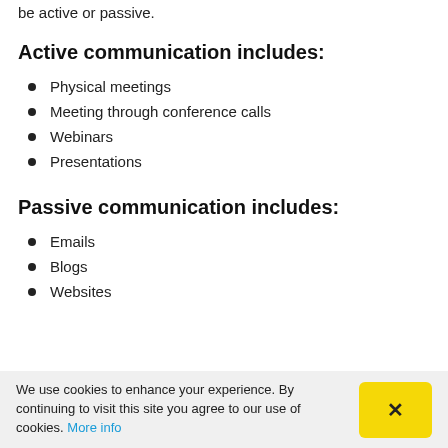be active or passive.
Active communication includes:
Physical meetings
Meeting through conference calls
Webinars
Presentations
Passive communication includes:
Emails
Blogs
Websites
We use cookies to enhance your experience. By continuing to visit this site you agree to our use of cookies. More info